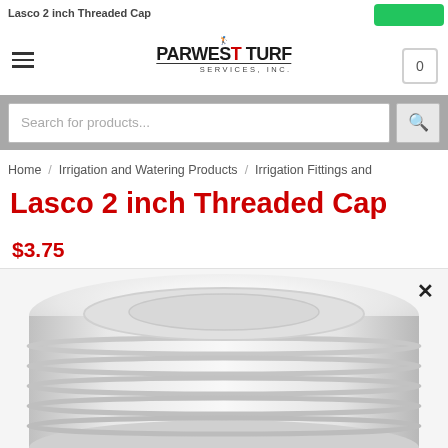Lasco 2 inch Threaded Cap
[Figure (logo): ParWest Turf Services, Inc. logo with golf tee icon]
Search for products...
Home / Irrigation and Watering Products / Irrigation Fittings and
Lasco 2 inch Threaded Cap
$3.75
[Figure (photo): Close-up photo of a white PVC threaded cap fitting, showing the threaded interior and ridged exterior]